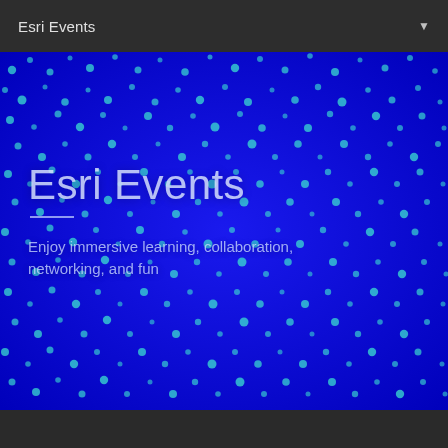Esri Events
Esri Events
Enjoy immersive learning, collaboration, networking, and fun